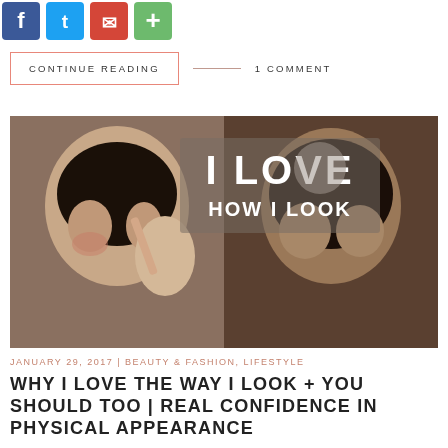[Figure (illustration): Social media share icons: Facebook (blue), Twitter (blue), Email (red), Plus/Share (green)]
CONTINUE READING
1 COMMENT
[Figure (photo): Two women with natural curly hair in a split image. The left woman applies makeup with a brush. Text overlay reads 'I LOVE HOW I LOOK'. The right woman has no makeup and a neutral expression.]
JANUARY 29, 2017 | BEAUTY & FASHION, LIFESTYLE
WHY I LOVE THE WAY I LOOK + YOU SHOULD TOO | REAL CONFIDENCE IN PHYSICAL APPEARANCE